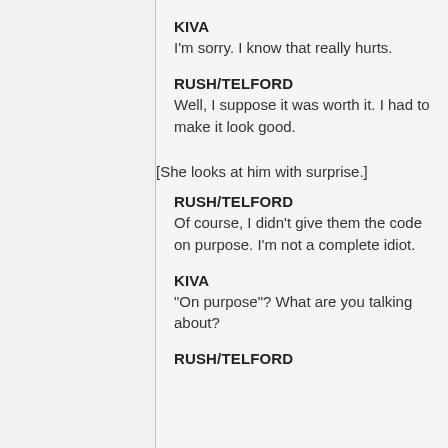KIVA
I'm sorry. I know that really hurts.
RUSH/TELFORD
Well, I suppose it was worth it. I had to make it look good.
[She looks at him with surprise.]
RUSH/TELFORD
Of course, I didn't give them the code on purpose. I'm not a complete idiot.
KIVA
"On purpose"? What are you talking about?
RUSH/TELFORD